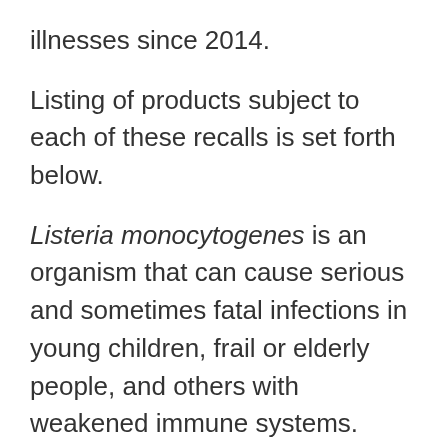illnesses since 2014.
Listing of products subject to each of these recalls is set forth below.
Listeria monocytogenes is an organism that can cause serious and sometimes fatal infections in young children, frail or elderly people, and others with weakened immune systems. Although healthy individuals may suffer only short-term symptoms such as high fever, severe headache, stiffness, nausea, abdominal pain and diarrhea, Listeria infection can cause miscarriages and stillbirths among